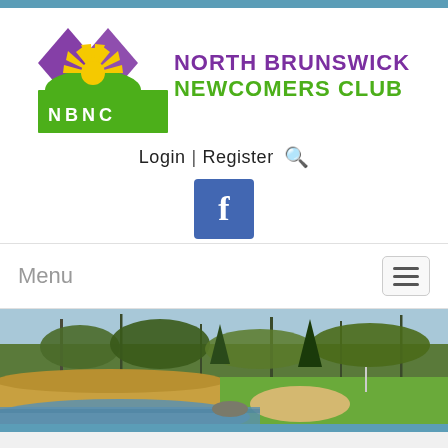[Figure (logo): NBNC North Brunswick Newcomers Club logo with purple diamond shapes, yellow sun rays, green hills, and green rectangle with white NBNC text]
Login  |  Register 🔍
[Figure (logo): Facebook 'f' button icon, blue square with white f]
Menu
[Figure (photo): Outdoor landscape photo of a golf course pond with trees, grass, sand bunker and water reflecting blue sky]